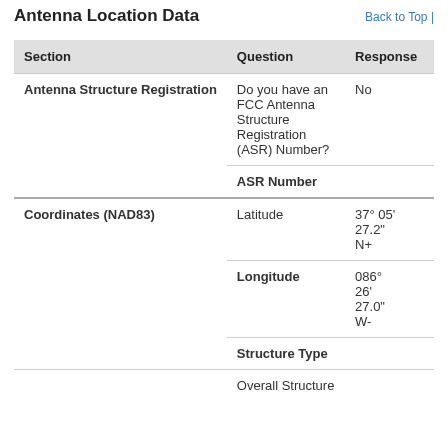Antenna Location Data
Back to Top |
| Section | Question | Response |
| --- | --- | --- |
| Antenna Structure Registration | Do you have an FCC Antenna Structure Registration (ASR) Number? | No |
|  | ASR Number |  |
| Coordinates (NAD83) | Latitude | 37° 05' 27.2" N+ |
|  | Longitude | 086° 26' 27.0" W- |
|  | Structure Type |  |
|  | Overall Structure |  |